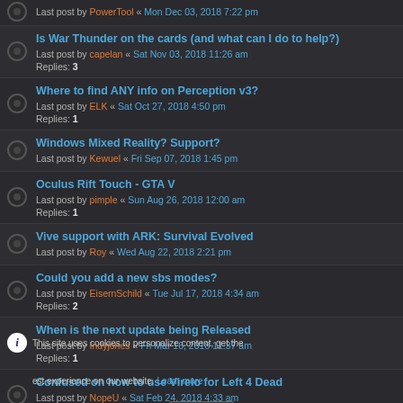Last post by PowerTool « Mon Dec 03, 2018 7:22 pm
Is War Thunder on the cards (and what can I do to help?)
Last post by capelan « Sat Nov 03, 2018 11:26 am
Replies: 3
Where to find ANY info on Perception v3?
Last post by ELK « Sat Oct 27, 2018 4:50 pm
Replies: 1
Windows Mixed Reality? Support?
Last post by Kewuel « Fri Sep 07, 2018 1:45 pm
Oculus Rift Touch - GTA V
Last post by pimple « Sun Aug 26, 2018 12:00 am
Replies: 1
Vive support with ARK: Survival Evolved
Last post by Roy « Wed Aug 22, 2018 2:21 pm
Could you add a new sbs modes?
Last post by EisernSchild « Tue Jul 17, 2018 4:34 am
Replies: 2
When is the next update being Released
Last post by Indyjones « Fri Mar 16, 2018 11:37 am
Replies: 1
Confused on how to use Vireio for Left 4 Dead
Last post by NopeU « Sat Feb 24, 2018 4:33 am
Replies: 2
Fallout 4 crashes after launching the game
Last post by Gamerking122 « Fri Feb 16, 2018 10:10 pm
Replies: 33